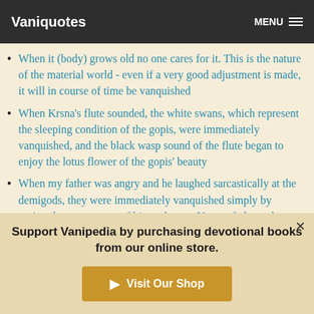Vaniquotes | MENU
When it (body) grows old no one cares for it. This is the nature of the material world - even if a very good adjustment is made, it will in course of time be vanquished
When Krsna's flute sounded, the white swans, which represent the sleeping condition of the gopis, were immediately vanquished, and the black wasp sound of the flute began to enjoy the lotus flower of the gopis' beauty
When my father was angry and he laughed sarcastically at the demigods, they were immediately vanquished simply by seeing the movements of his eyebrows. Yet my father, who was so powerful, has now been vanquished by You within a
Support Vanipedia by purchasing devotional books from our online store.
Visit Our Shop